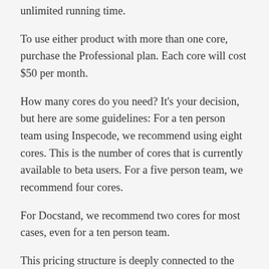unlimited running time.
To use either product with more than one core, purchase the Professional plan. Each core will cost $50 per month.
How many cores do you need? It’s your decision, but here are some guidelines: For a ten person team using Inspecode, we recommend using eight cores. This is the number of cores that is currently available to beta users. For a five person team, we recommend four cores.
For Docstand, we recommend two cores for most cases, even for a ten person team.
This pricing structure is deeply connected to the nature of our services. Inspecode and Docstand execute jobs in